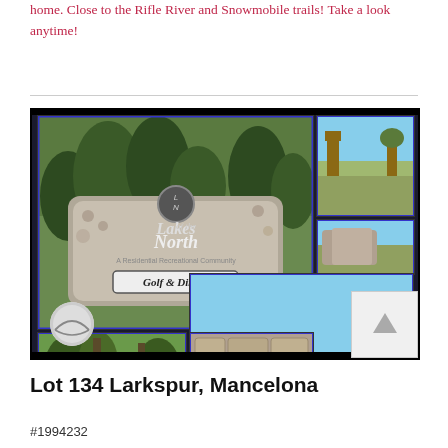home. Close to the Rifle River and Snowmobile trails! Take a look anytime!
[Figure (photo): Collage of Lakes of the North community photos including entrance sign reading 'Lakes of the North - A Residential Recreational Community - Golf & Dining', open field, stone wall, lakefront view, and tree-lined entrance road.]
Lot 134 Larkspur, Mancelona
#1994232